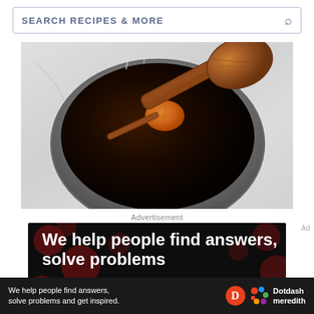SEARCH RECIPES & MORE
[Figure (photo): Overhead view of a saucepan on a marble surface with dark liquid, a cinnamon stick and orange slice inside, steam rising, and a wooden spoon resting across the pot.]
Advertisement
[Figure (infographic): Dark advertisement banner with polka dot background showing bold white text: 'We help people find answers, solve problems']
Ad
We help people find answers, solve problems and get inspired. Dotdash meredith